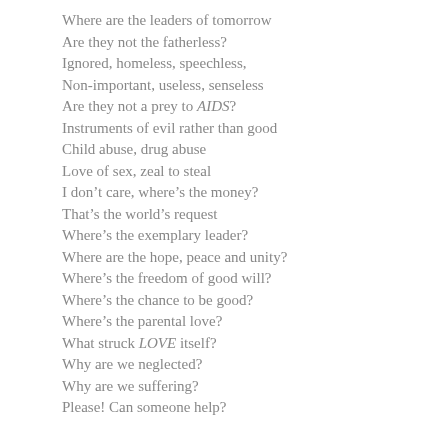Where are the leaders of tomorrow
Are they not the fatherless?
Ignored, homeless, speechless,
Non-important, useless, senseless
Are they not a prey to AIDS?
Instruments of evil rather than good
Child abuse, drug abuse
Love of sex, zeal to steal
I don't care, where's the money?
That's the world's request
Where's the exemplary leader?
Where are the hope, peace and unity?
Where's the freedom of good will?
Where's the chance to be good?
Where's the parental love?
What struck LOVE itself?
Why are we neglected?
Why are we suffering?
Please! Can someone help?